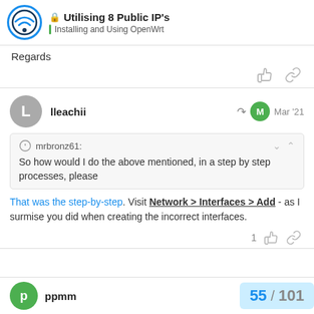Utilising 8 Public IP's — Installing and Using OpenWrt
Regards
lleachii   Mar '21
mrbronz61: So how would I do the above mentioned, in a step by step processes, please
That was the step-by-step. Visit Network > Interfaces > Add - as I surmise you did when creating the incorrect interfaces.
ppmm   55 / 101